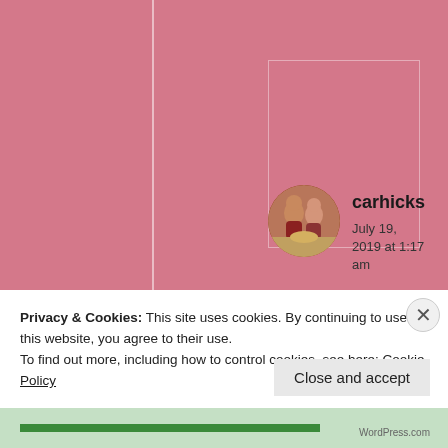[Figure (photo): Screenshot of a blog comment section with pink background. User 'carhicks' with a circular avatar photo of children, posted July 19, 2019 at 1:17 am, comment text 'It sure is.' with a star liked by 1 person. Overlaid by a cookie consent banner saying 'Privacy & Cookies: This site uses cookies. By continuing to use this website, you agree to their use. To find out more, including how to control cookies, see here: Cookie Policy' with a 'Close and accept' button.]
carhicks
July 19, 2019 at 1:17 am
It sure is.
Liked by 1 person
Privacy & Cookies: This site uses cookies. By continuing to use this website, you agree to their use.
To find out more, including how to control cookies, see here: Cookie Policy
Close and accept